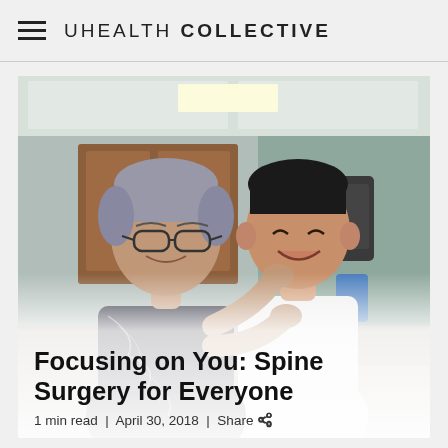UHEALTH COLLECTIVE
[Figure (photo): A female patient with short gray hair and glasses placing her hands on the shoulders of a smiling male doctor in a white coat, in a clinical exam room setting with wooden cabinets and medical equipment in the background.]
Focusing on You: Spine Surgery for Everyone
1 min read | April 30, 2018 | Share